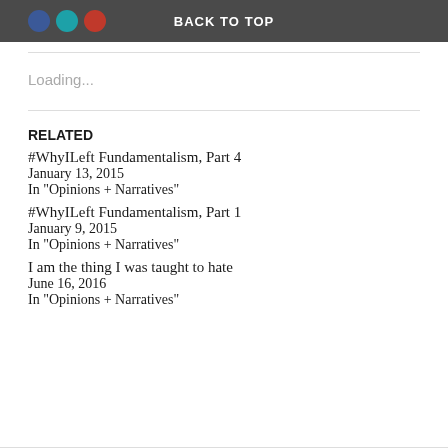BACK TO TOP
Loading...
RELATED
#WhyILeft Fundamentalism, Part 4
January 13, 2015
In "Opinions + Narratives"
#WhyILeft Fundamentalism, Part 1
January 9, 2015
In "Opinions + Narratives"
I am the thing I was taught to hate
June 16, 2016
In "Opinions + Narratives"